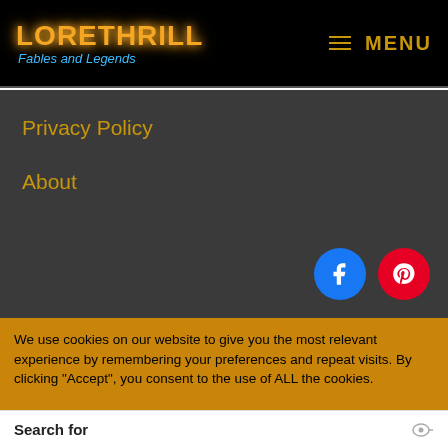LORETHRILL Fables and Legends  MENU
Privacy Policy
About
[Figure (illustration): Facebook circle icon (blue) and Pinterest circle icon (red)]
We use cookies on our website to give you the most relevant experience by remembering your preferences and repeat visits. By clicking “Accept”, you consent to the use of ALL the cookies.
Search for
01.  Apply For Scholarships
02.  Bank Owned Cars For Sale
Yahoo! Search | Sponsored